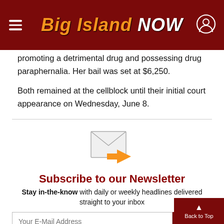Big Island Now
promoting a detrimental drug and possessing drug paraphernalia. Her bail was set at $6,250.
Both remained at the cellblock until their initial court appearance on Wednesday, June 8.
[Figure (illustration): Email envelope icon with orange arrow, newsletter signup graphic]
Subscribe to our Newsletter
Stay in-the-know with daily or weekly headlines delivered straight to your inbox